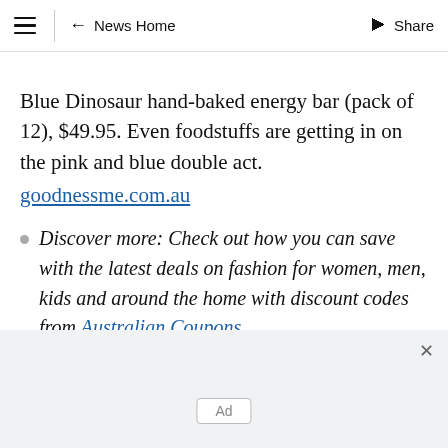≡  ← News Home  Share
Blue Dinosaur hand-baked energy bar (pack of 12), $49.95. Even foodstuffs are getting in on the pink and blue double act.
goodnessme.com.au
Discover more: Check out how you can save with the latest deals on fashion for women, men, kids and around the home with discount codes from Australian Coupons.